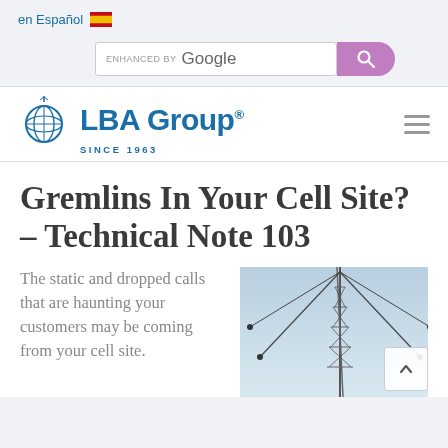en Español 🇪🇸
[Figure (screenshot): Google search bar with ENHANCED BY label and purple search button]
[Figure (logo): LBA Group logo with globe icon, bold blue text reading LBA Group® SINCE 1963]
Gremlins In Your Cell Site? – Technical Note 103
The static and dropped calls that are haunting your customers may be coming from your cell site.
[Figure (photo): Photograph of a cell tower / antenna structure against a sky background, with cables visible]